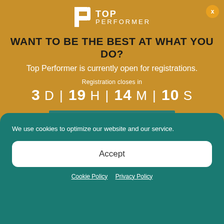[Figure (logo): Top Performer logo: white stylized P shape with TOP PERFORMER text in white on amber/golden background]
WANT TO BE THE BEST AT WHAT YOU DO?
Top Performer is currently open for registrations.
Registration closes in
3 D | 19 H | 14 M | 10 S
LEARN MORE!
We use cookies to optimize our website and our service.
Accept
Cookie Policy   Privacy Policy